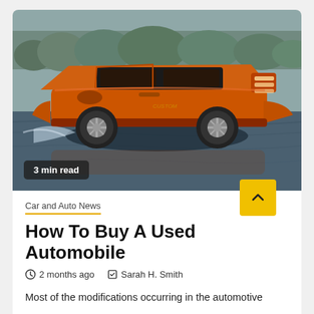[Figure (photo): Orange custom convertible automobile driving on water, side view, with chrome wheels and lowered stance, water splashing beneath.]
3 min read
Car and Auto News
How To Buy A Used Automobile
2 months ago  Sarah H. Smith
Most of the modifications occurring in the automotive